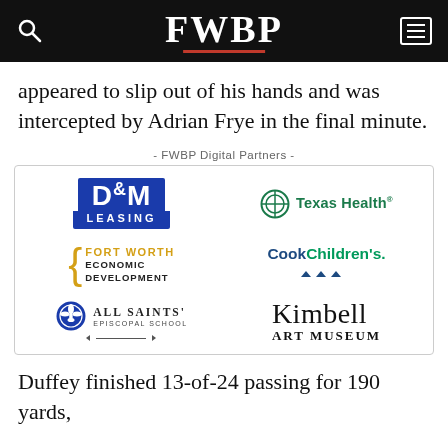FWBP
appeared to slip out of his hands and was intercepted by Adrian Frye in the final minute.
- FWBP Digital Partners -
[Figure (logo): FWBP Digital Partners logos: D&M Leasing, Texas Health, Fort Worth Economic Development, Cook Children's, All Saints' Episcopal School, Kimbell Art Museum]
Duffey finished 13-of-24 passing for 190 yards,